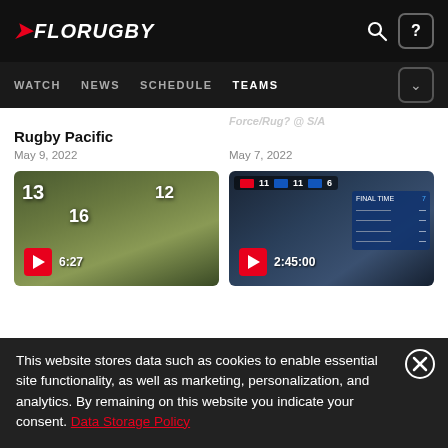FloRugby - WATCH NEWS SCHEDULE TEAMS
Rugby Pacific
May 9, 2022
Force/Rug? @ S/A
May 7, 2022
[Figure (screenshot): Rugby match thumbnail showing players with numbers 13, 16, 12, play button with duration 6:27]
[Figure (screenshot): Rugby locker room/team meeting thumbnail with score overlay, play button with duration 2:45:00]
This website stores data such as cookies to enable essential site functionality, as well as marketing, personalization, and analytics. By remaining on this website you indicate your consent. Data Storage Policy